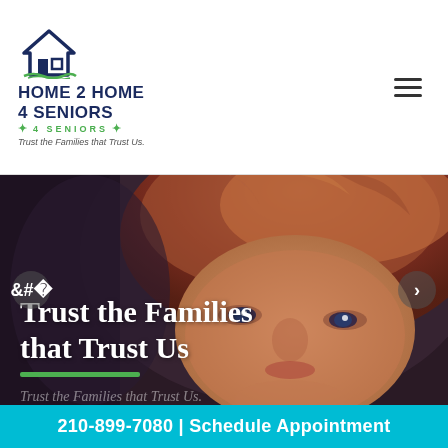[Figure (logo): Home 2 Home 4 Seniors logo with house icon, dark blue text, green subtitle and italic tagline 'Trust the Families that Trust Us.']
[Figure (photo): Close-up portrait of an elderly woman with short brown hair, looking directly at the camera, overlaid with white text 'Trust the Families that Trust Us' and a green underline bar. Left and right navigation arrows visible.]
Trust the Families that Trust Us
210-899-7080 | Schedule Appointment